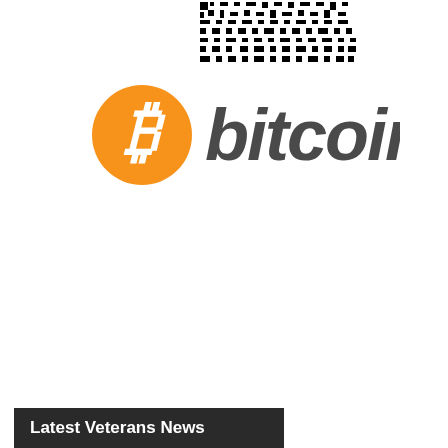[Figure (other): QR code, black and white pixelated square pattern]
[Figure (logo): Bitcoin logo: orange circle with white Bitcoin 'B' symbol followed by the word 'bitcoin' in dark gray italic sans-serif font]
Latest Veterans News